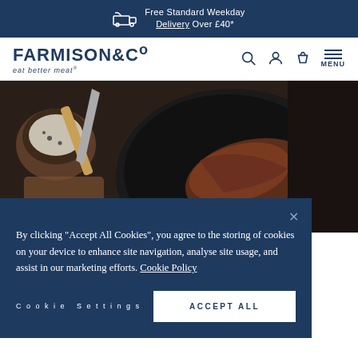Free Standard Weekday Delivery Over £40*
[Figure (logo): Farmison & Co logo with tagline 'eat better meat']
[Figure (photo): Overhead shot of a cast iron pan with cooked steak, a salt bowl and a knife on a dark surface]
By clicking "Accept All Cookies", you agree to the storing of cookies on your device to enhance site navigation, analyse site usage, and assist in our marketing efforts. Cookie Policy
Cookie Settings
ACCEPT ALL